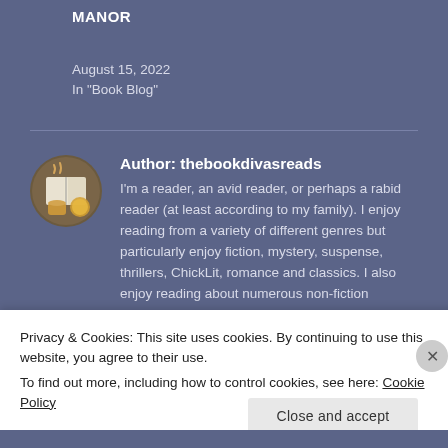MANOR
August 15, 2022
In "Book Blog"
Author: thebookdivasreads
I'm a reader, an avid reader, or perhaps a rabid reader (at least according to my family). I enjoy reading from a variety of different genres but particularly enjoy fiction, mystery, suspense, thrillers, ChickLit, romance and classics. I also enjoy reading about numerous non-fiction subjects including aromatherapy, comparative
Privacy & Cookies: This site uses cookies. By continuing to use this website, you agree to their use.
To find out more, including how to control cookies, see here: Cookie Policy
Close and accept